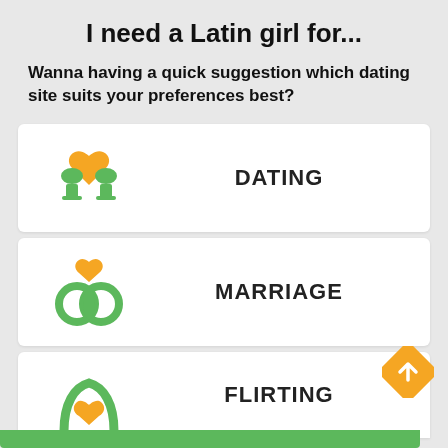I need a Latin girl for...
Wanna having a quick suggestion which dating site suits your preferences best?
[Figure (infographic): Card with two green wine glasses clinking with a yellow heart above, labeled DATING]
[Figure (infographic): Card with two interlocking green rings with a yellow heart above, labeled MARRIAGE]
[Figure (infographic): Card partially visible with green arch icon and yellow heart, labeled FLIRTING]
[Figure (other): Yellow diamond-shaped back-to-top button with upward arrow]